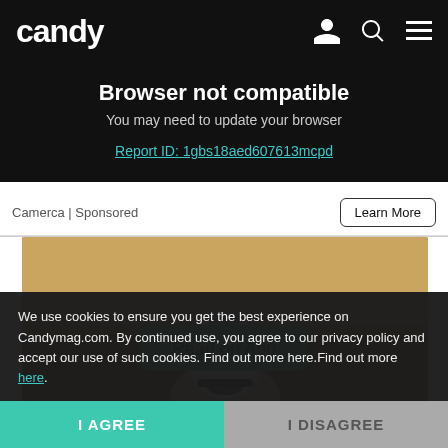candy
Browser not compatible
You may need to update your browser
Report ID: 1gbs18aed607613mcpd
Camerca | Sponsored
Learn More
[Figure (photo): A hand holding a white security camera shaped like a light bulb with a metal screw base, with a teal 'Read on App' button overlay]
We use cookies to ensure you get the best experience on Candymag.com. By continued use, you agree to our privacy policy and accept our use of such cookies. Find out more here.Find out more here.
I AGREE
I DISAGREE